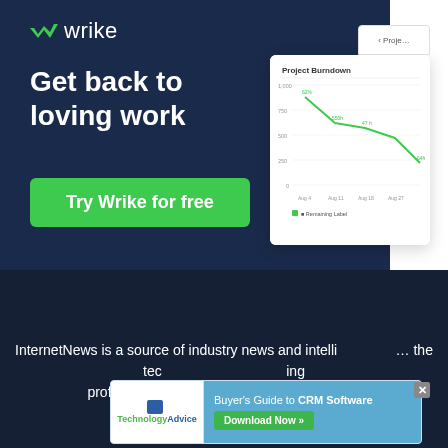[Figure (screenshot): Wrike advertisement banner with dark navy background, Wrike logo (green checkmark + 'wrike' text), headline 'Get back to loving work', green 'Try Wrike for free' button, and a UI mockup showing a 'Project Burndown' line chart]
[Figure (screenshot): Dark navy section below the Wrike banner with body text about InternetNews and two overlapping ad banners: TechnologyAdvice logo and a 'Buyer's Guide to CRM Software / Download Now' banner with a close X button]